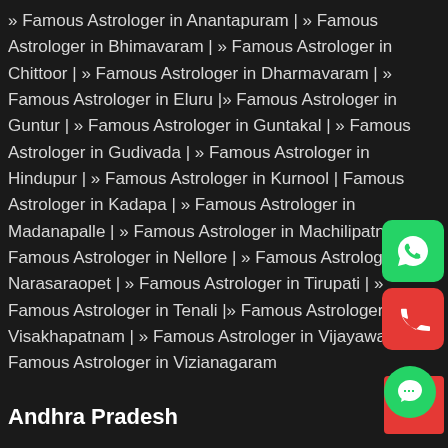» Famous Astrologer in Anantapuram | » Famous Astrologer in Bhimavaram | » Famous Astrologer in Chittoor | » Famous Astrologer in Dharmavaram | » Famous Astrologer in Eluru | » Famous Astrologer in Guntur | » Famous Astrologer in Guntakal | » Famous Astrologer in Gudivada | » Famous Astrologer in Hindupur | » Famous Astrologer in Kurnool | Famous Astrologer in Kadapa | » Famous Astrologer in Madanapalle | » Famous Astrologer in Machilipatnam | » Famous Astrologer in Nellore | » Famous Astrologer in Narasaraopet | » Famous Astrologer in Tirupati | » Famous Astrologer in Tenali | » Famous Astrologer in Visakhapatnam | » Famous Astrologer in Vijayawada | » Famous Astrologer in Vizianagaram
Andhra Pradesh
[Figure (other): WhatsApp contact button (green rounded rectangle with WhatsApp icon)]
[Figure (other): Phone call button (red rounded rectangle with phone icon)]
[Figure (other): Chat button (green circle over red rectangle with chat bubble icon)]